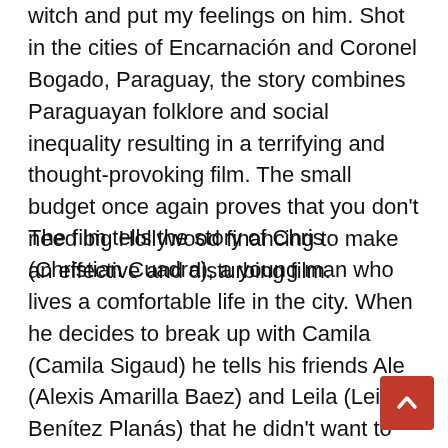witch and put my feelings on him. Shot in the cities of Encarnación and Coronel Bogado, Paraguay, the story combines Paraguayan folklore and social inequality resulting in a terrifying and thought-provoking film. The small budget once again proves that you don't need big Hollywood financing to make an effective and disturbing film.
The film tells the story of Chris (Christian Cuadra), a young man who lives a comfortable life in the city. When he decides to break up with Camila (Camila Sigaud) he tells his friends Ale (Alexis Amarilla Baez) and Leila (Leila Benítez Planás) that he didn't want to date her because she was weird and jokes about her being from Kurusu Serapio, which is considered a lower class area. Shortly after the breakup, Chris finds some objects arranged in an unusual pattern in front of his house and his friends tell